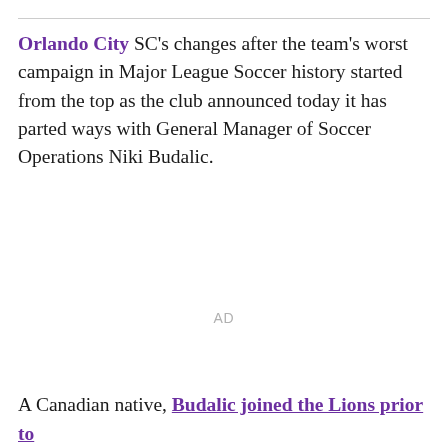Orlando City SC's changes after the team's worst campaign in Major League Soccer history started from the top as the club announced today it has parted ways with General Manager of Soccer Operations Niki Budalic.
AD
A Canadian native, Budalic joined the Lions prior to